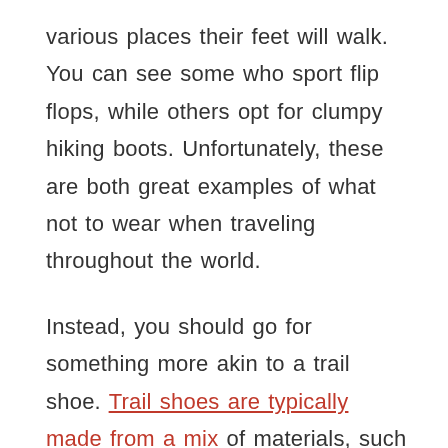various places their feet will walk. You can see some who sport flip flops, while others opt for clumpy hiking boots. Unfortunately, these are both great examples of what not to wear when traveling throughout the world.
Instead, you should go for something more akin to a trail shoe. Trail shoes are typically made from a mix of materials, such as a mesh upper, rubber outsole, and a cushioned midsole. The shoe should be supportive enough for long distances and flexible enough for uneven ground. They